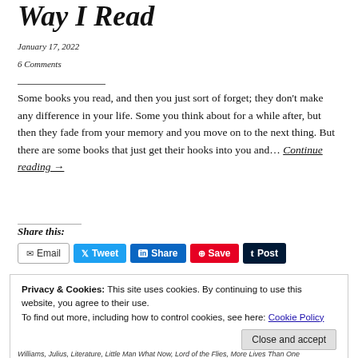Way I Read
January 17, 2022
6 Comments
Some books you read, and then you just sort of forget; they don't make any difference in your life. Some you think about for a while after, but then they fade from your memory and you move on to the next thing. But there are some books that just get their hooks into you and… Continue reading →
Share this:
Email  Tweet  Share  Save  Post
Privacy & Cookies: This site uses cookies. By continuing to use this website, you agree to their use. To find out more, including how to control cookies, see here: Cookie Policy
Williams, Julius, Literature, Little Man What Now, Lord of the Flies, More Lives Than One